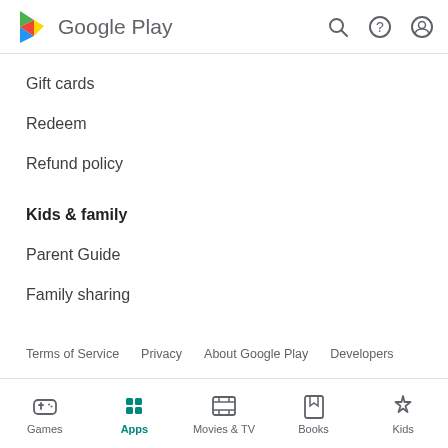Google Play
Gift cards
Redeem
Refund policy
Kids & family
Parent Guide
Family sharing
Terms of Service   Privacy   About Google Play   Developers
Google Store  United States (English (United States))
Games  Apps  Movies & TV  Books  Kids